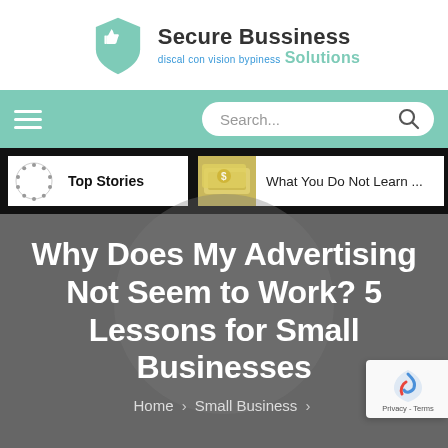[Figure (logo): Secure Bussiness Solutions logo with teal shield and thumbs-up icon, company name in dark and teal text]
Navigation bar with hamburger menu and Search input
Top Stories | What You Do Not Learn ...
Why Does My Advertising Not Seem to Work? 5 Lessons for Small Businesses
Home > Small Business >